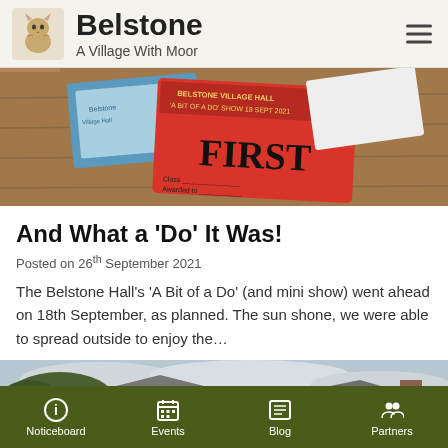Belstone – A Village With Moor
[Figure (photo): A red first-place card from Belstone Village Hall 'A Bit of a Do' Show 18 Sept 2021 saying FIRST, on a wooden table with blue cards]
And What a ‘Do’ It Was!
Posted on 26th September 2021
The Belstone Hall’s ‘A Bit of a Do’ (and mini show) went ahead on 18th September, as planned. The sun shone, we were able to spread outside to enjoy the…
[Figure (photo): Outdoor scene with people and buildings in background, village setting]
Noticeboard | Events | Blog | Partners